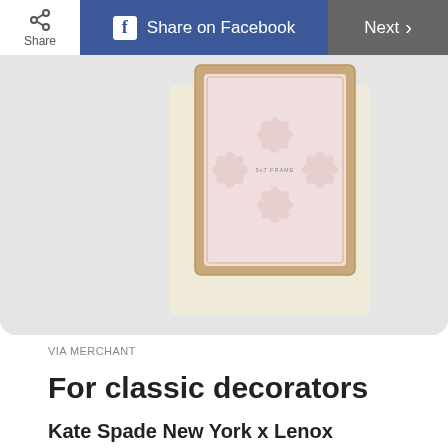Share | Share on Facebook | Next
[Figure (photo): Kate Spade New York x Lenox With Love Frame product photo — a white and gold decorative picture frame with floral pattern, displayed against a light beige/cream background]
VIA MERCHANT
For classic decorators
Kate Spade New York x Lenox With Love Frame
Find a heartwarming photo of the happy couple and add it to this timeless white and gold Kate